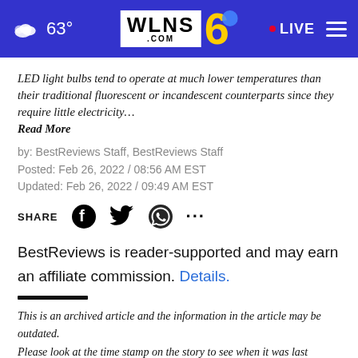63° WLNS6.COM LIVE
LED light bulbs tend to operate at much lower temperatures than their traditional fluorescent or incandescent counterparts since they require little electricity…
Read More
by: BestReviews Staff, BestReviews Staff
Posted: Feb 26, 2022 / 08:56 AM EST
Updated: Feb 26, 2022 / 09:49 AM EST
SHARE
BestReviews is reader-supported and may earn an affiliate commission. Details.
This is an archived article and the information in the article may be outdated. Please look at the time stamp on the story to see when it was last updated.